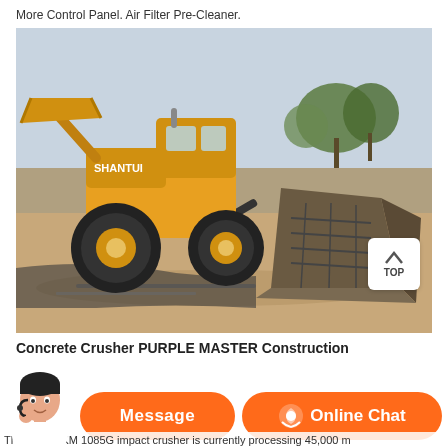More Control Panel. Air Filter Pre-Cleaner.
[Figure (photo): A yellow Shantui wheel loader/bulldozer lifting or pushing a large metal industrial box/crusher unit on a sandy construction/demolition site with trees in the background.]
Concrete Crusher PURPLE MASTER Construction
Message
Online Chat
The mobile KM 1085G impact crusher is currently processing 45,000 m